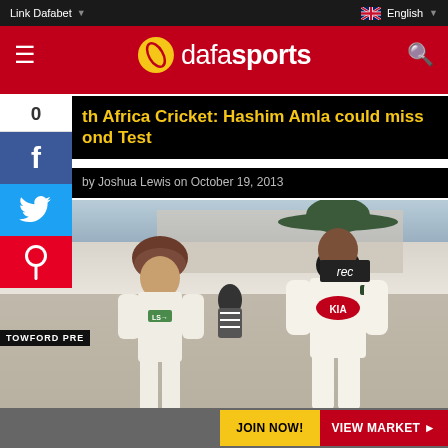Link Dafabet | English
[Figure (logo): Dafasports logo on red navigation bar]
South Africa Cricket: Hashim Amla could miss Second Test
by Joshua Lewis on October 19, 2013
[Figure (photo): Two cricket players in white Surrey kit with KIA sponsor walking off field, one wearing wide-brimmed hat]
JOIN NOW! VIEW MARKET ▶